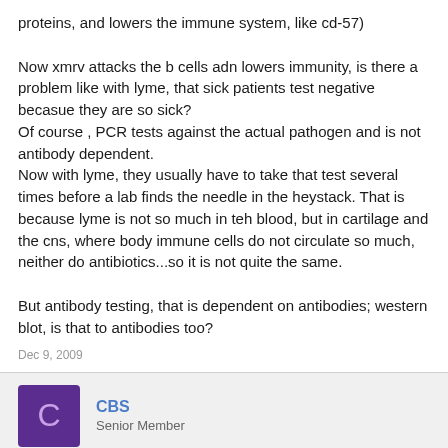proteins, and lowers the immune system, like cd-57)

Now xmrv attacks the b cells adn lowers immunity, is there a problem like with lyme, that sick patients test negative becasue they are so sick?
Of course , PCR tests against the actual pathogen and is not antibody dependent.
Now with lyme, they usually have to take that test several times before a lab finds the needle in the heystack. That is because lyme is not so much in teh blood, but in cartilage and the cns, where body immune cells do not circulate so much, neither do antibiotics...so it is not quite the same.

But antibody testing, that is dependent on antibodies; western blot, is that to antibodies too?
Dec 9, 2009
CBS
Senior Member